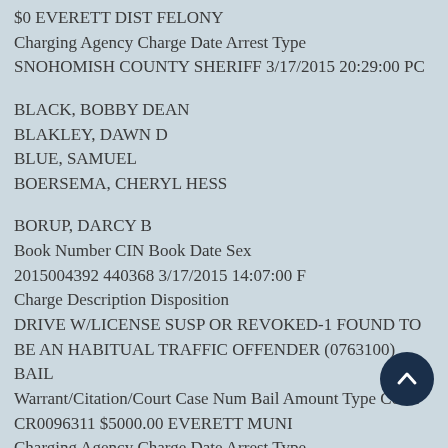$0 EVERETT DIST FELONY
Charging Agency Charge Date Arrest Type
SNOHOMISH COUNTY SHERIFF 3/17/2015 20:29:00 PC
BLACK, BOBBY DEAN
BLAKLEY, DAWN D
BLUE, SAMUEL
BOERSEMA, CHERYL HESS
BORUP, DARCY B
Book Number CIN Book Date Sex
2015004392 440368 3/17/2015 14:07:00 F
Charge Description Disposition
DRIVE W/LICENSE SUSP OR REVOKED-1 FOUND TO BE AN HABITUAL TRAFFIC OFFENDER (0763100)
BAIL
Warrant/Citation/Court Case Num Bail Amount Type Court
CR0096311 $5000.00 EVERETT MUNI
Charging Agency Charge Date Arrest Type
EVERETT P.D. 3/17/2015 14:07:00 WA
Charge Description Disposition